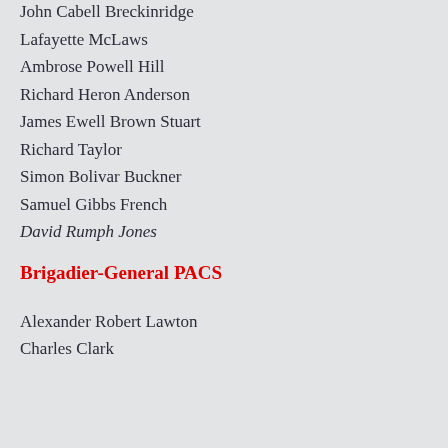John Cabell Breckinridge
Lafayette McLaws
Ambrose Powell Hill
Richard Heron Anderson
James Ewell Brown Stuart
Richard Taylor
Simon Bolivar Buckner
Samuel Gibbs French
David Rumph Jones
Brigadier-General PACS
Alexander Robert Lawton
Charles Clark